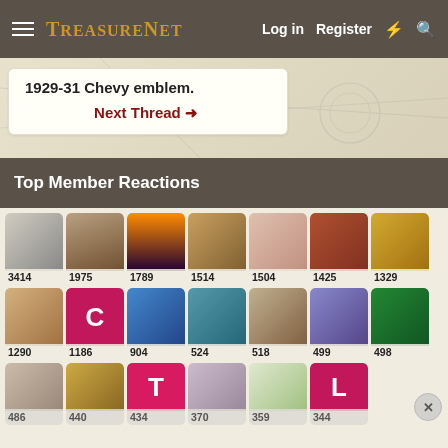TreasureNet  Log in  Register
1929-31 Chevy emblem.
Next Thread →
Top Member Reactions
[Figure (infographic): Grid of 20 member avatar thumbnails each with a reaction count number below. Counts: 3414, 1975, 1789, 1514, 1504, 1425, 1329, 1290, 1186, 904, 524, 518, 499, 498, 486, 440, 434, 370, 359, 344]